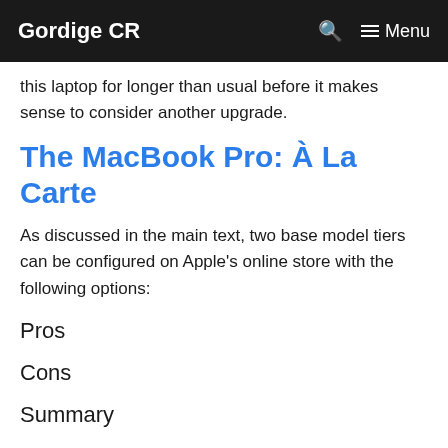Gordige CR   🔍   ☰ Menu
this laptop for longer than usual before it makes sense to consider another upgrade.
The MacBook Pro: À La Carte
As discussed in the main text, two base model tiers can be configured on Apple's online store with the following options:
Pros
Cons
Summary